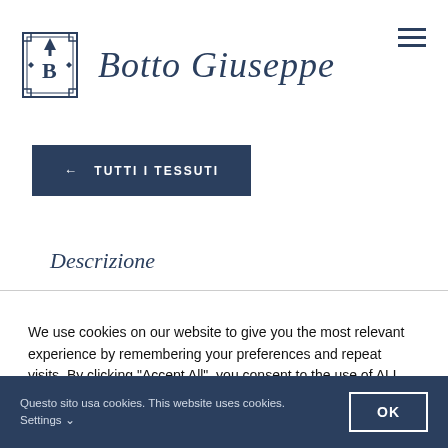[Figure (logo): Botto Giuseppe brand logo with crest icon and italic script brand name]
← TUTTI I TESSUTI
Descrizione
We use cookies on our website to give you the most relevant experience by remembering your preferences and repeat visits. By clicking "Accept All", you consent to the use of ALL the cookies. However, you may visit "Cookie Settings" to provide a controlled consent.
Questo sito usa cookies. This website uses cookies. Settings ∨
OK